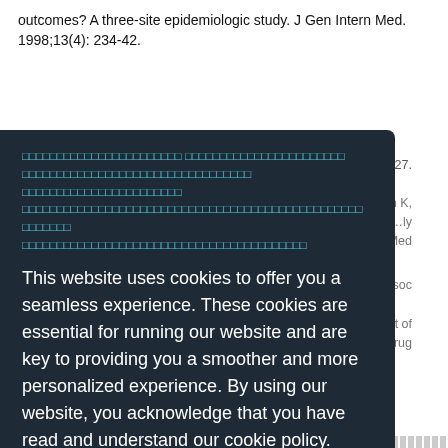outcomes? A three-site epidemiologic study. J Gen Intern Med. 1998;13(4): 234-42.
This website uses cookies to offer you a seamless experience. These cookies are essential for running our website and are key to providing you a smoother and more personalized experience. By using our website, you acknowledge that you have read and understand our cookie policy.  Privacy policy
American Psychiatric Association. Diagnostic and Statistical Manual of Mental Disorders. 4th ed. Washington:
United States of America. Bolton CF...